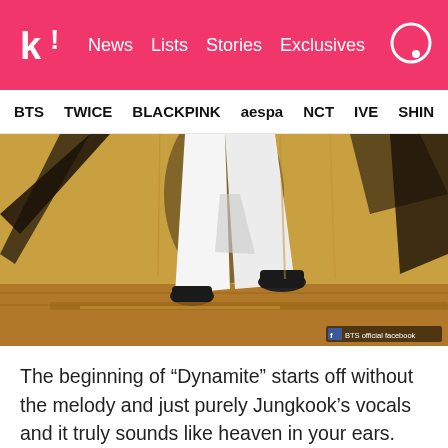k! News Lists Stories Exclusives
BTS TWICE BLACKPINK aespa NCT IVE SHIN
[Figure (photo): Close-up of a performer's legs wearing white trousers and black shoes mid-step on a golden/amber stage, with dark shadows behind. BTS official facebook watermark.]
The beginning of “Dynamite” starts off without the melody and just purely Jungkook’s vocals and it truly sounds like heaven in your ears.